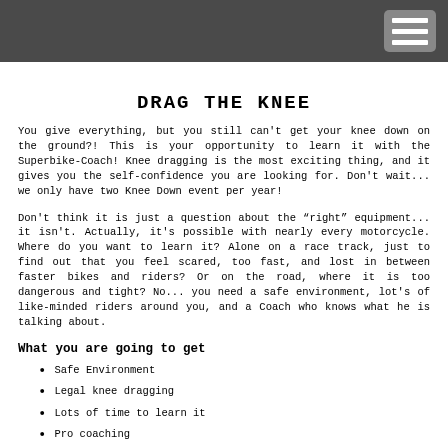[navigation header bar with menu icon]
DRAG THE KNEE
You give everything, but you still can't get your knee down on the ground?! This is your opportunity to learn it with the Superbike-Coach! Knee dragging is the most exciting thing, and it gives you the self-confidence you are looking for. Don't wait... we only have two Knee Down event per year!
Don't think it is just a question about the “right” equipment... it isn't. Actually, it's possible with nearly every motorcycle. Where do you want to learn it? Alone on a race track, just to find out that you feel scared, too fast, and lost in between faster bikes and riders? Or on the road, where it is too dangerous and tight? No... you need a safe environment, lot's of like-minded riders around you, and a Coach who knows what he is talking about.
What you are going to get
Safe Environment
Legal knee dragging
Lots of time to learn it
Pro coaching